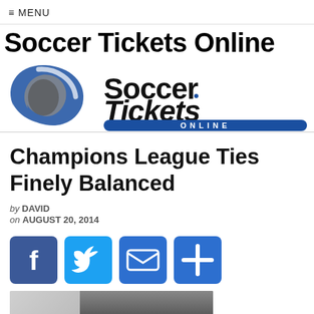≡ MENU
Soccer Tickets Online
[Figure (logo): SoccerTickets Online logo with blue swirl emblem on left and SoccerTickets text with ONLINE in blue banner below]
Champions League Ties Finely Balanced
by DAVID
on AUGUST 20, 2014
[Figure (infographic): Social share buttons: Facebook (f), Twitter (bird), Email (envelope), Plus (+)]
[Figure (photo): Partial photo of a person, partially blurred at top left]